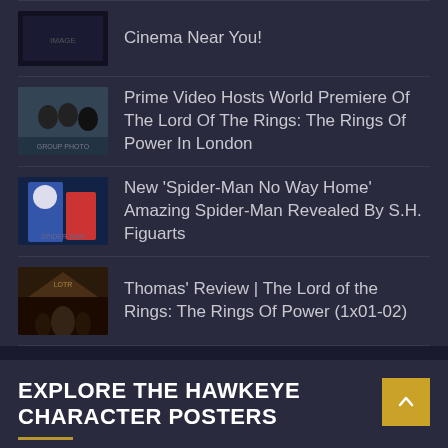Cinema Near You!
Prime Video Hosts World Premiere Of The Lord Of The Rings: The Rings Of Power In London
New 'Spider-Man No Way Home' Amazing Spider-Man Revealed By S.H. Figuarts
Thomas' Review | The Lord of the Rings: The Rings Of Power (1x01-02)
EXPLORE THE HAWKEYE CHARACTER POSTERS
[Figure (photo): Purple/pink abstract image preview of Hawkeye character poster content]